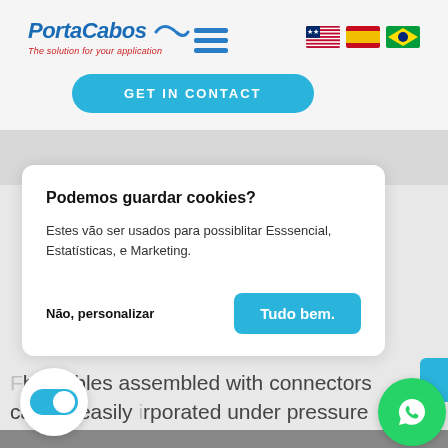[Figure (screenshot): PortaCabos website header with logo, hamburger menu icon, and three language flag icons (US, Spain, Brazil)]
[Figure (screenshot): GET IN CONTACT button in teal/cyan rounded pill style]
[Figure (screenshot): Cookie consent dialog with title 'Podemos guardar cookies?', body text, 'Não, personalizar' and 'Tudo bem.' buttons]
he cables assembled with connectors can be easily rporated under pressure and replaced quic
[Figure (screenshot): Toggle switch icon (active/on state) in bottom left corner]
[Figure (screenshot): WhatsApp floating button in bottom right corner]